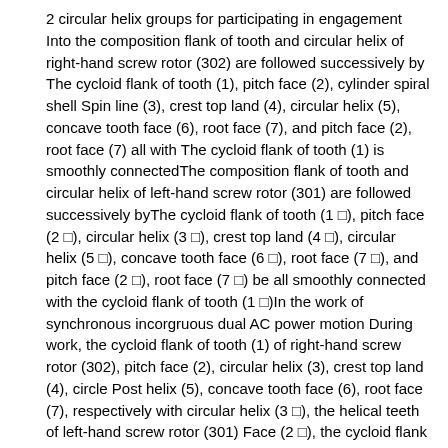2 circular helix groups for participating in engagement Into the composition flank of tooth and circular helix of right-hand screw rotor (302) are followed successively byThe cycloid flank of tooth (1), pitch face (2), cylinder spiral shell Spin line (3), crest top land (4), circular helix (5), concave tooth face (6), root face (7), and pitch face (2), root face (7) all with The cycloid flank of tooth (1) is smoothly connectedThe composition flank of tooth and circular helix of left-hand screw rotor (301) are followed successively byThe cycloid flank of tooth (1 ), pitch face (2 ), circular helix (3 ), crest top land (4 ), circular helix (5 ), concave tooth face (6 ), root face (7 ), and pitch face (2 ), root face (7 ) be all smoothly connected with the cycloid flank of tooth (1 )In the work of synchronous incorgruous dual AC power motion During work, the cycloid flank of tooth (1) of right-hand screw rotor (302), pitch face (2), circular helix (3), crest top land (4), circle Post helix (5), concave tooth face (6), root face (7), respectively with circular helix (3 ), the helical teeth of left-hand screw rotor (301) Face (2 ), the cycloid flank of tooth (1 ), root face (7 ), concave tooth face (6 ), circular helix (5 ), crest top land (4 ) can be realized just True engagementIn any axial positions, the axial cross section molded line of left-